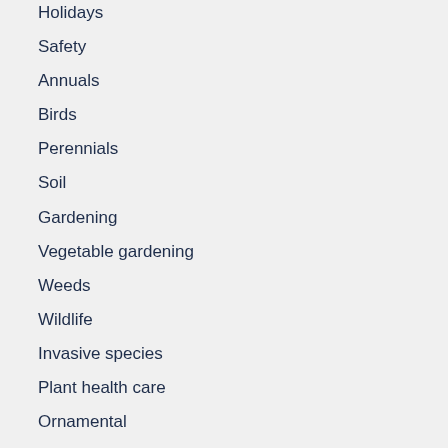Holidays
Safety
Annuals
Birds
Perennials
Soil
Gardening
Vegetable gardening
Weeds
Wildlife
Invasive species
Plant health care
Ornamental